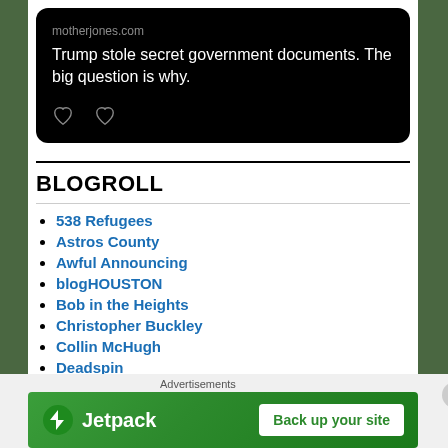[Figure (screenshot): Tweet card on black background showing motherjones.com link with headline: Trump stole secret government documents. The big question is why. Two heart/like icons visible at bottom.]
BLOGROLL
538 Refugees
Astros County
Awful Announcing
blogHOUSTON
Bob in the Heights
Christopher Buckley
Collin McHugh
Deadspin
[Figure (infographic): Jetpack advertisement banner: green background with Jetpack logo and 'Back up your site' button. Advertisements label above.]